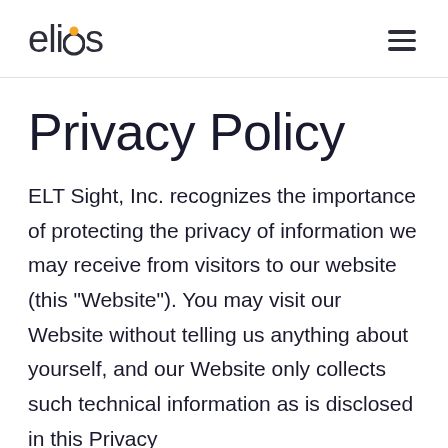elios
Privacy Policy
ELT Sight, Inc. recognizes the importance of protecting the privacy of information we may receive from visitors to our website (this "Website"). You may visit our Website without telling us anything about yourself, and our Website only collects such technical information as is disclosed in this Privacy